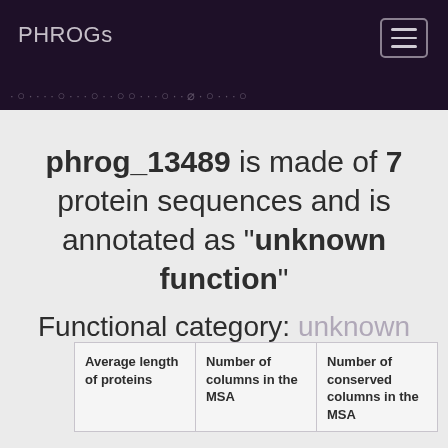PHROGs
phrog_13489 is made of 7 protein sequences and is annotated as "unknown function"
Functional category: unknown function
| Average length of proteins | Number of columns in the MSA | Number of conserved columns in the MSA |
| --- | --- | --- |